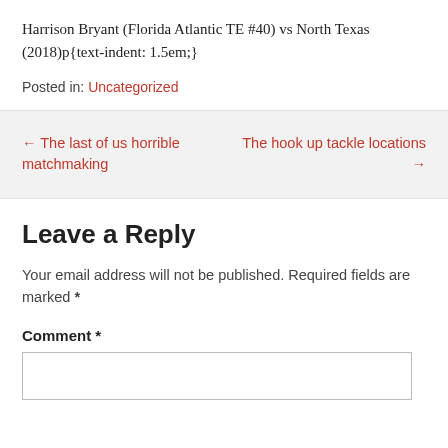Harrison Bryant (Florida Atlantic TE #40) vs North Texas (2018)p{text-indent: 1.5em;}
Posted in: Uncategorized
← The last of us horrible matchmaking
The hook up tackle locations →
Leave a Reply
Your email address will not be published. Required fields are marked *
Comment *